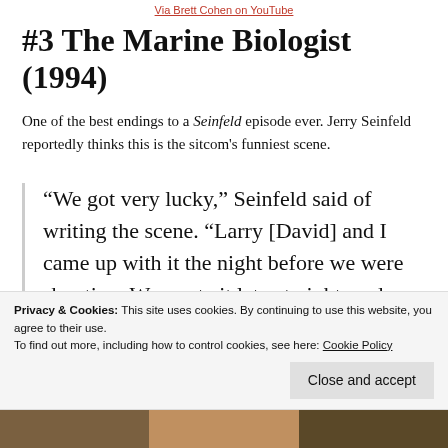Via Brett Cohen on YouTube
#3 The Marine Biologist (1994)
One of the best endings to a Seinfeld episode ever. Jerry Seinfeld reportedly thinks this is the sitcom's funniest scene.
“We got very lucky,” Seinfeld said of writing the scene. “Larry [David] and I came up with it the night before we were shooting. We wrote it late at night, and Jason memorized the whole speech in one day.”
Privacy & Cookies: This site uses cookies. By continuing to use this website, you agree to their use.
To find out more, including how to control cookies, see here: Cookie Policy
[Figure (photo): Photo strip of people at the bottom of the page]